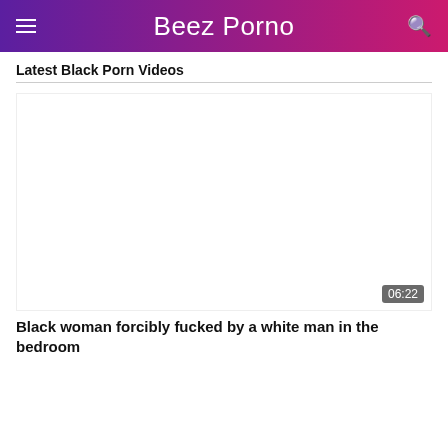Beez Porno
Latest Black Porn Videos
[Figure (screenshot): Video thumbnail placeholder (white/blank) with duration badge 06:22 in bottom right corner]
Black woman forcibly fucked by a white man in the bedroom